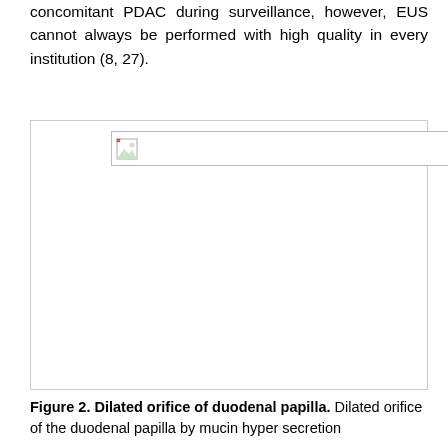concomitant PDAC during surveillance, however, EUS cannot always be performed with high quality in every institution (8, 27).
[Figure (photo): Broken/missing image placeholder representing Figure 2: Dilated orifice of duodenal papilla, showing dilated orifice of the duodenal papilla by mucin hyper secretion.]
Figure 2. Dilated orifice of duodenal papilla. Dilated orifice of the duodenal papilla by mucin hyper secretion